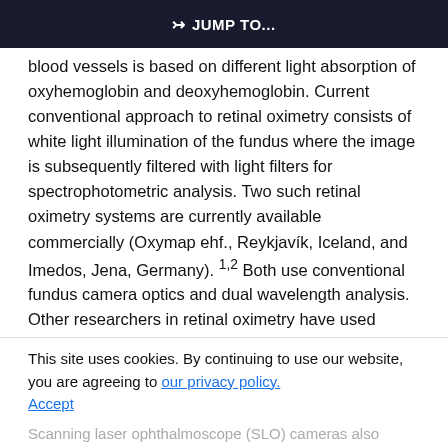JUMP TO...
blood vessels is based on different light absorption of oxyhemoglobin and deoxyhemoglobin. Current conventional approach to retinal oximetry consists of white light illumination of the fundus where the image is subsequently filtered with light filters for spectrophotometric analysis. Two such retinal oximetry systems are currently available commercially (Oxymap ehf., Reykjavík, Iceland, and Imedos, Jena, Germany). 1,2 Both use conventional fundus camera optics and dual wavelength analysis. Other researchers in retinal oximetry have used
This site uses cookies. By continuing to use our website, you are agreeing to our privacy policy. Accept
Scanning laser ophthalmoscope (SLO) cameras also